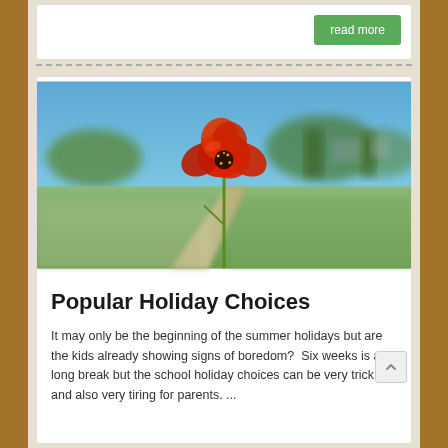read more
[Figure (photo): A single red poppy flower in sharp focus against a blurred background of green fields, a dirt path, and blue sky with trees in the distance.]
Popular Holiday Choices
It may only be the beginning of the summer holidays but are the kids already showing signs of boredom?  Six weeks is a long break but the school holiday choices can be very trick and also very tiring for parents. ...